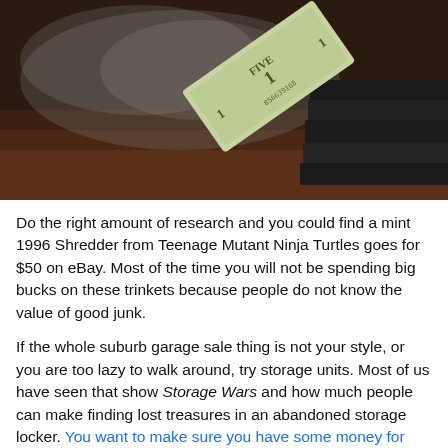[Figure (photo): A US one dollar bill propped up against a stack of dark books on a dark wooden surface, with smoke or mist in the background.]
Do the right amount of research and you could find a mint 1996 Shredder from Teenage Mutant Ninja Turtles goes for $50 on eBay. Most of the time you will not be spending big bucks on these trinkets because people do not know the value of good junk.
If the whole suburb garage sale thing is not your style, or you are too lazy to walk around, try storage units. Most of us have seen that show Storage Wars and how much people can make finding lost treasures in an abandoned storage locker. You want to make sure you have some money for this since you have to pay for stuff in the locker. Often these lockers